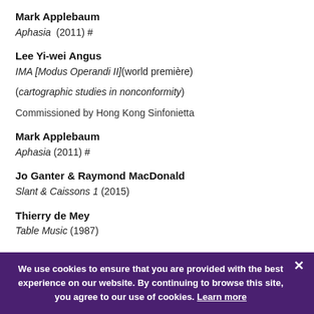Mark Applebaum
Aphasia (2011) #
Lee Yi-wei Angus
IMA [Modus Operandi II](world première)
(cartographic studies in nonconformity)
Commissioned by Hong Kong Sinfonietta
Mark Applebaum
Aphasia (2011) #
Jo Ganter & Raymond MacDonald
Slant & Caissons 1 (2015)
Thierry de Mey
Table Music (1987)
We use cookies to ensure that you are provided with the best experience on our website. By continuing to browse this site, you agree to our use of cookies. Learn more